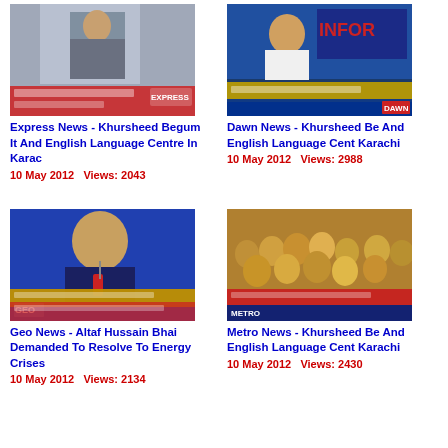[Figure (screenshot): Express News TV screenshot showing news anchor]
Express News - Khursheed Begum It And English Language Centre In Karac
10 May 2012   Views: 2043
[Figure (screenshot): Dawn News TV screenshot showing politician at podium with INFOR sign]
Dawn News - Khursheed Be And English Language Cent Karachi
10 May 2012   Views: 2988
[Figure (screenshot): Geo News TV screenshot showing Altaf Hussain Bhai speaking]
Geo News - Altaf Hussain Bhai Demanded To Resolve To Energy Crises
10 May 2012   Views: 2134
[Figure (screenshot): Metro News TV screenshot showing crowd at event]
Metro News - Khursheed Be And English Language Cent Karachi
10 May 2012   Views: 2430